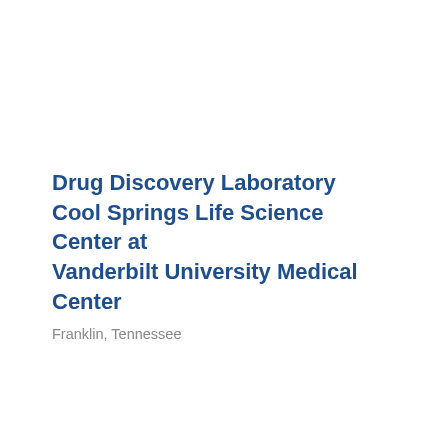Drug Discovery Laboratory Cool Springs Life Science Center at Vanderbilt University Medical Center
Franklin, Tennessee